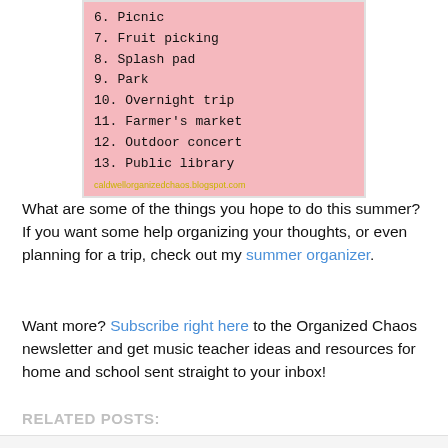[Figure (illustration): A pink-background summer activity list image showing numbered items 7-13 (Fruit picking, Splash pad, Park, Overnight trip, Farmer's market, Outdoor concert, Public library) with floral decorations and the watermark caldwellorganizedchaos.blogspot.com]
What are some of the things you hope to do this summer? If you want some help organizing your thoughts, or even planning for a trip, check out my summer organizer.
Want more? Subscribe right here to the Organized Chaos newsletter and get music teacher ideas and resources for home and school sent straight to your inbox!
RELATED POSTS: